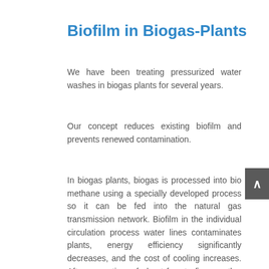Biofilm in Biogas-Plants
We have been treating pressurized water washes in biogas plants for several years.
Our concept reduces existing biofilm and prevents renewed contamination.
In biogas plants, biogas is processed into bio methane using a specially developed process so it can be fed into the natural gas transmission network. Biofilm in the individual circulation process water lines contaminates plants, energy efficiency significantly decreases, and the cost of cooling increases. After a run time of about four to five months, the system needs intense cleaning. This leads to production downtime and a loss of efficiency of the